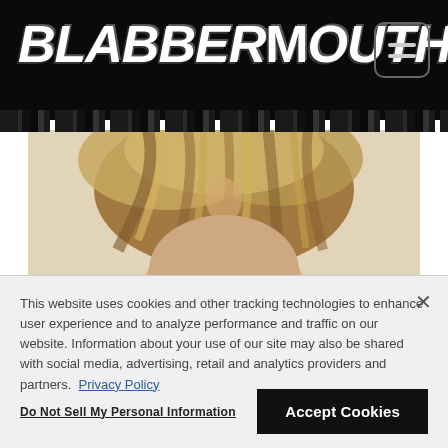BLABBERMOUTH.NET
[Figure (photo): Top-down view of a person with long blond/brown hair against a light beige background]
This website uses cookies and other tracking technologies to enhance user experience and to analyze performance and traffic on our website. Information about your use of our site may also be shared with social media, advertising, retail and analytics providers and partners. Privacy Policy
Do Not Sell My Personal Information
Accept Cookies